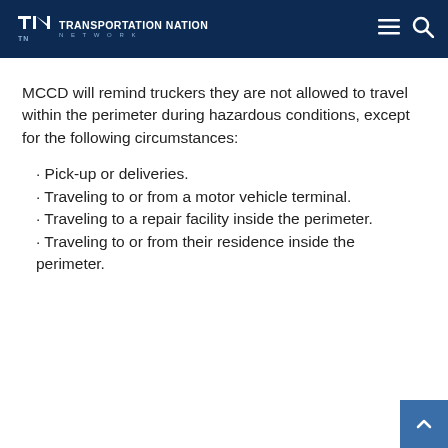Transportation Nation Network
MCCD will remind truckers they are not allowed to travel within the perimeter during hazardous conditions, except for the following circumstances:
Pick-up or deliveries.
Traveling to or from a motor vehicle terminal.
Traveling to a repair facility inside the perimeter.
Traveling to or from their residence inside the perimeter.